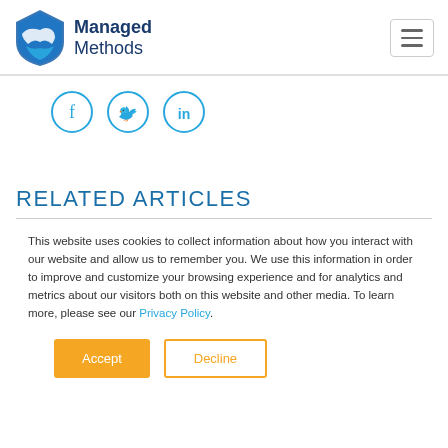Managed Methods
[Figure (logo): Managed Methods logo with shield icon and company name]
[Figure (infographic): Social media share icons: Facebook, Twitter, LinkedIn in circular outlines]
RELATED ARTICLES
This website uses cookies to collect information about how you interact with our website and allow us to remember you. We use this information in order to improve and customize your browsing experience and for analytics and metrics about our visitors both on this website and other media. To learn more, please see our Privacy Policy.